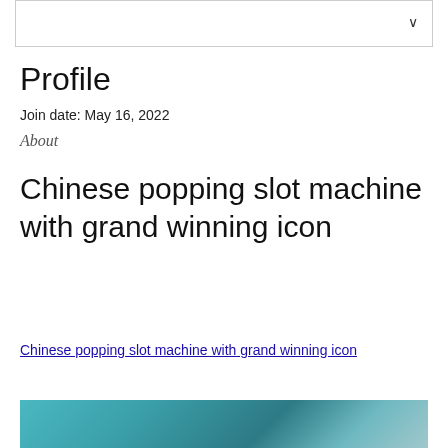Profile
Join date: May 16, 2022
About
Chinese popping slot machine with grand winning icon
Chinese popping slot machine with grand winning icon
[Figure (photo): Partially visible image of a Chinese slot machine with colorful teal/blue background, blurred at bottom of page]